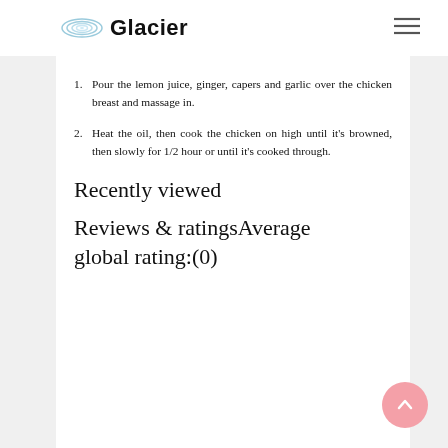Glacier
Pour the lemon juice, ginger, capers and garlic over the chicken breast and massage in.
Heat the oil, then cook the chicken on high until it's browned, then slowly for 1/2 hour or until it's cooked through.
Recently viewed
Reviews & ratingsAverage global rating:(0)